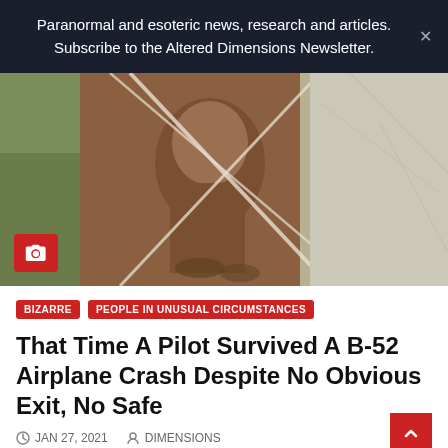Paranormal and esoteric news, research and articles. Subscribe to the Altered Dimensions Newsletter.
[Figure (photo): Vintage sepia-toned photograph showing a person's face and upper body, with ropes or cables crossing in front, outdoors with green foliage visible on the left and light-colored background on the right. A red camera badge icon appears in the lower left corner.]
BIZARRE
PEOPLE IN UNUSUAL CIRCUMSTANCES
That Time A Pilot Survived A B-52 Airplane Crash Despite No Obvious Exit, No Safe
JAN 27, 2021   DIMENSIONS